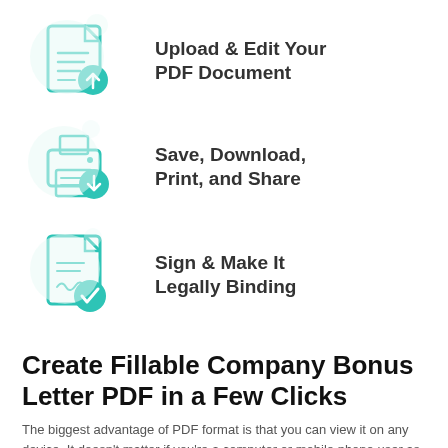[Figure (illustration): Teal document icon with an upward arrow inside a green circle badge, with light blue decorative circles in background]
Upload & Edit Your PDF Document
[Figure (illustration): Teal printer icon with a downward arrow inside a green circle badge, with light blue decorative circles in background]
Save, Download, Print, and Share
[Figure (illustration): Teal document with signature and a green circle badge with checkmark, with light blue decorative circles in background]
Sign & Make It Legally Binding
Create Fillable Company Bonus Letter PDF in a Few Clicks
The biggest advantage of PDF format is that you can view it on any device. It doesn't matter if you're a computer or mobile phone user as well as which